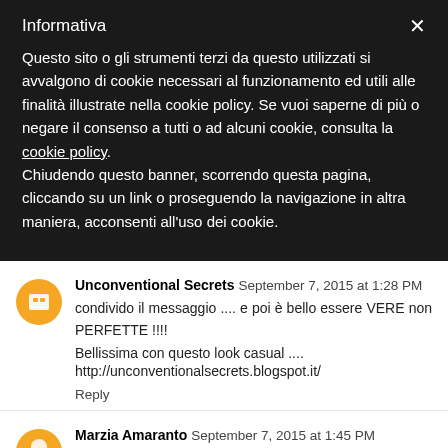Informativa
Questo sito o gli strumenti terzi da questo utilizzati si avvalgono di cookie necessari al funzionamento ed utili alle finalità illustrate nella cookie policy. Se vuoi saperne di più o negare il consenso a tutti o ad alcuni cookie, consulta la cookie policy. Chiudendo questo banner, scorrendo questa pagina, cliccando su un link o proseguendo la navigazione in altra maniera, acconsenti all'uso dei cookie.
Unconventional Secrets  September 7, 2015 at 1:28 PM
condivido il messaggio .... e poi è bello essere VERE non PERFETTE !!!!
Bellissima con questo look casual ....
http://unconventionalsecrets.blogspot.it/
Reply
Marzia Amaranto  September 7, 2015 at 1:45 PM